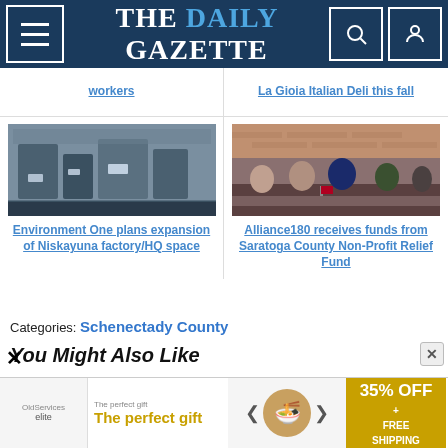THE DAILY GAZETTE
workers
La Gioia Italian Deli this fall
[Figure (photo): Interior of a factory/manufacturing floor with machinery and equipment at Niskayuna]
Environment One plans expansion of Niskayuna factory/HQ space
[Figure (photo): Group of men sitting at a conference table with American flags, appearing to be at an official meeting]
Alliance180 receives funds from Saratoga County Non-Profit Relief Fund
Categories: Schenectady County
You Might Also Like
[Figure (other): Advertisement banner: The perfect gift - 35% OFF + FREE SHIPPING]